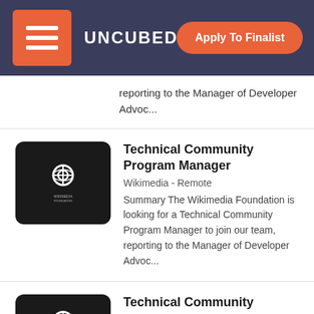UNCUBED | Apply To Finalist
reporting to the Manager of Developer Advoc...
Technical Community Program Manager
Wikimedia - Remote
Summary The Wikimedia Foundation is looking for a Technical Community Program Manager to join our team, reporting to the Manager of Developer Advoc...
Technical Community Program Manager
Wikimedia - Remote
Summary The Wikimedia Foundation is looking for a Technical Community